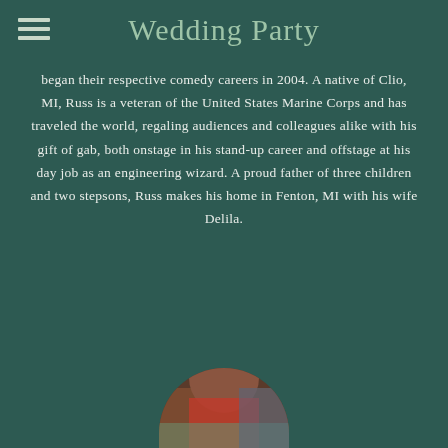Wedding Party
began their respective comedy careers in 2004. A native of Clio, MI, Russ is a veteran of the United States Marine Corps and has traveled the world, regaling audiences and colleagues alike with his gift of gab, both onstage in his stand-up career and offstage at his day job as an engineering wizard. A proud father of three children and two stepsons, Russ makes his home in Fenton, MI with his wife Delila.
[Figure (photo): Circular cropped photo of a person, partially visible at the bottom of the page, showing someone in a red garment outdoors.]